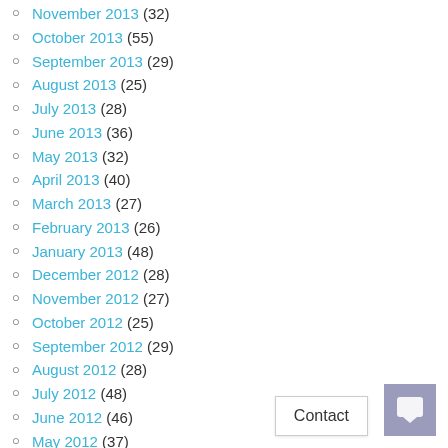November 2013 (32)
October 2013 (55)
September 2013 (29)
August 2013 (25)
July 2013 (28)
June 2013 (36)
May 2013 (32)
April 2013 (40)
March 2013 (27)
February 2013 (26)
January 2013 (48)
December 2012 (28)
November 2012 (27)
October 2012 (25)
September 2012 (29)
August 2012 (28)
July 2012 (48)
June 2012 (46)
May 2012 (37)